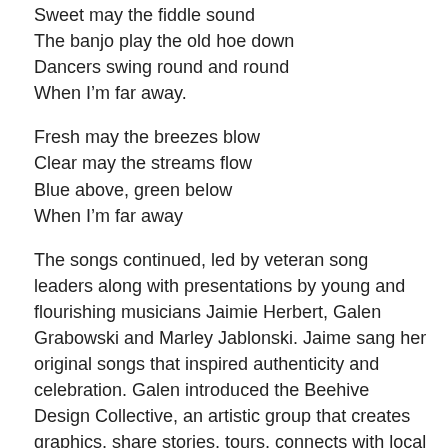Sweet may the fiddle sound
The banjo play the old hoe down
Dancers swing round and round
When I'm far away.
Fresh may the breezes blow
Clear may the streams flow
Blue above, green below
When I'm far away
The songs continued, led by veteran song leaders along with presentations by young and flourishing musicians Jaimie Herbert, Galen Grabowski and Marley Jablonski. Jaime sang her original songs that inspired authenticity and celebration. Galen introduced the Beehive Design Collective, an artistic group that creates graphics, share stories, tours, connects with local to global efforts, and shapes our collective experience together. Marley